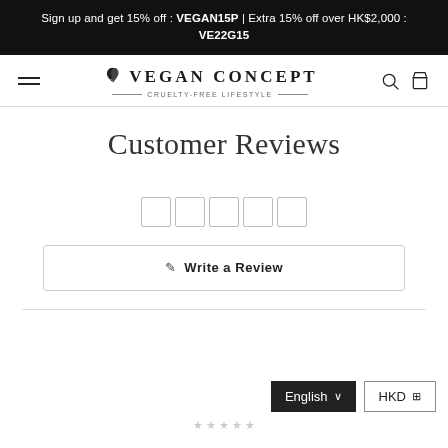Sign up and get 15% off : VEGAN15P | Extra 15% off over HK$2,000 : VE22G15
[Figure (logo): Vegan Concept logo with leaf icon, brand name VEGAN CONCEPT, and tagline CRUELTY-FREE LIFESTYLE]
Customer Reviews
[Figure (other): Five empty star rating boxes]
✎  Write a Review
English ∨
HKD ⊞
[Figure (other): Five small grey stars (empty rating)]